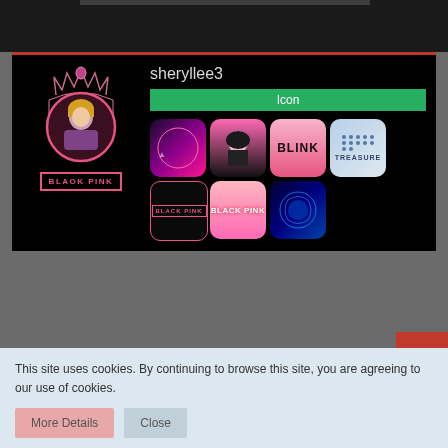[Figure (screenshot): Black background profile card for user 'sheryllee3' with BLACKPINK theme. Shows avatar with crown decoration, BLACKPINK label, username, green Icon badge, and a grid of K-pop app icons.]
Jan 17th 2021
I've been fooled! And I got so excited too
This site uses cookies. By continuing to browse this site, you are agreeing to our use of cookies.
More Details
Close